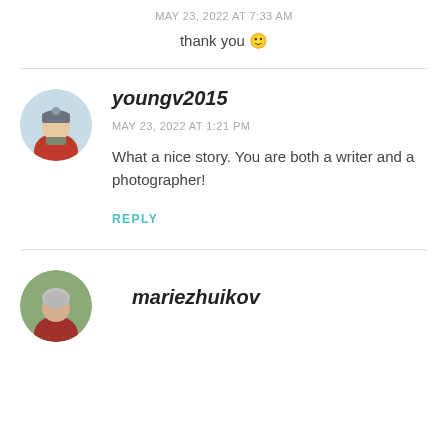MAY 23, 2022 AT 7:33 AM
thank you 🙂
youngv2015
MAY 23, 2022 AT 1:21 PM
What a nice story. You are both a writer and a photographer!
REPLY
[Figure (photo): Circular avatar of a person in red jacket and grey beanie hat outdoors]
mariezhuikov
[Figure (photo): Circular avatar of a person with grey hair outdoors]